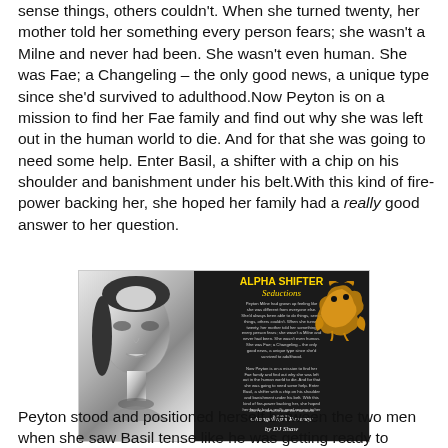sense things, others couldn't. When she turned twenty, her mother told her something every person fears; she wasn't a Milne and never had been. She wasn't even human. She was Fae; a Changeling – the only good news, a unique type since she'd survived to adulthood.Now Peyton is on a mission to find her Fae family and find out why she was left out in the human world to die. And for that she was going to need some help. Enter Basil, a shifter with a chip on his shoulder and banishment under his belt.With this kind of fire-power backing her, she hoped her family had a really good answer to her question.
[Figure (illustration): Book cover image for 'Changeling's Revenge by DJ Shaw' from the Alpha Shifter Seductions series. Shows a woman's face in black and white on the left, with the book title in gold on a dark background on the right, along with a golden dragon graphic and small descriptive text.]
Peyton stood and positioned herself between the two men when she saw Basil tense like he was getting ready to